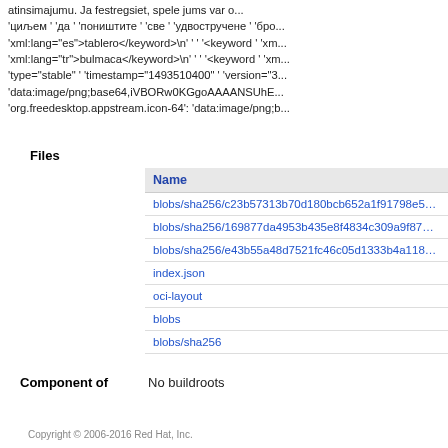atinsimajumu. Ja festregsiet, spele jums var o... 'циљем ' 'да ' 'поништите ' 'све ' 'удвостручене ' 'бро... 'xml:lang="es">tablero</keyword>\n' ' ' '<keyword ' 'xm... 'xml:lang="tr">bulmaca</keyword>\n' ' ' '<keyword ' 'xm... 'type="stable" ' 'timestamp="1493510400" ' 'version="3... 'data:image/png;base64,iVBORw0KGgoAAAANSUhE... 'org.freedesktop.appstream.icon-64': 'data:image/png;b...
Files
| Name |
| --- |
| blobs/sha256/c23b57313b70d180bcb652a1f91798e5… |
| blobs/sha256/169877da4953b435e8f4834c309a9f87… |
| blobs/sha256/e43b55a48d7521fc46c05d1333b4a118… |
| index.json |
| oci-layout |
| blobs |
| blobs/sha256 |
Component of   No buildroots
Copyright © 2006-2016 Red Hat, Inc.